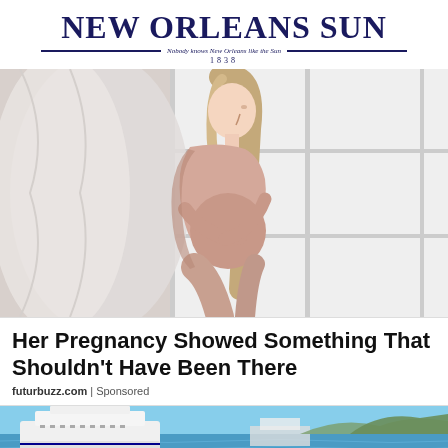NEW ORLEANS SUN — Nobody knows New Orleans like the Sun — 1838
[Figure (photo): Pregnant woman in profile view, wearing a dusty pink/mauve dress, holding her belly, standing in front of a large window with curtains]
Her Pregnancy Showed Something That Shouldn't Have Been There
futurbuzz.com | Sponsored
[Figure (photo): Partial view of a cruise ship and harbor/marina with blue water, bottom strip of page]